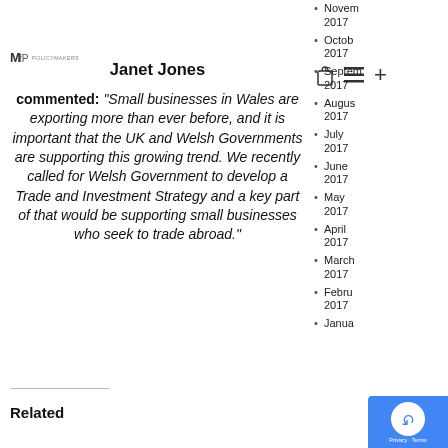[Figure (logo): MfP logo with small text]
Janet Jones
commented: “Small businesses in Wales are exporting more than ever before, and it is important that the UK and Welsh Governments are supporting this growing trend. We recently called for Welsh Government to develop a Trade and Investment Strategy and a key part of that would be supporting small businesses who seek to trade abroad.”
Related
November 2017
October 2017
September 2017
August 2017
July 2017
June 2017
May 2017
April 2017
March 2017
February 2017
January